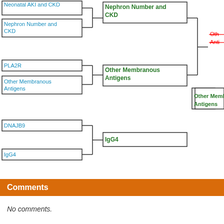[Figure (flowchart): Tournament bracket showing medical research topics: Neonatal AKI and CKD, Nephron Number and CKD, PLA2R, Other Membranous Antigens, DNAJB9, IgG4, with bracket connections leading to winners in green and a partially visible red strikethrough item on right edge.]
Comments
No comments.
Leave a Comment
Login or register to leave a comment.
Correct Picks
| Competitor | Round | Points Earned |
| --- | --- | --- |
| Belimumab | Round 1 | 1 |